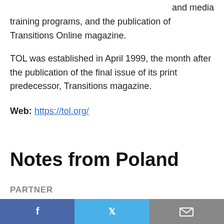and media training programs, and the publication of Transitions Online magazine.
TOL was established in April 1999, the month after the publication of the final issue of its print predecessor, Transitions magazine.
Web: https://tol.org/
Notes from Poland
PARTNER